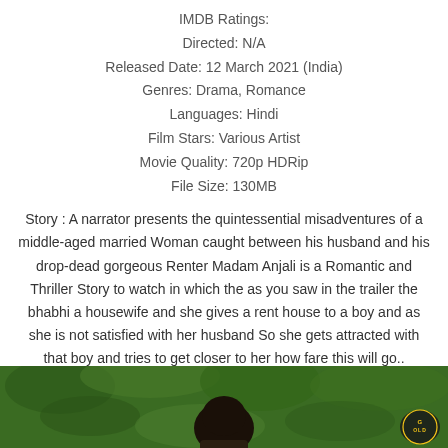IMDB Ratings:
Directed: N/A
Released Date: 12 March 2021 (India)
Genres: Drama, Romance
Languages: Hindi
Film Stars: Various Artist
Movie Quality: 720p HDRip
File Size: 130MB
Story : A narrator presents the quintessential misadventures of a middle-aged married Woman caught between his husband and his drop-dead gorgeous Renter Madam Anjali is a Romantic and Thriller Story to watch in which the as you saw in the trailer the bhabhi a housewife and she gives a rent house to a boy and as she is not satisfied with her husband So she gets attracted with that boy and tries to get closer to her how fare this will go..
[Figure (photo): A photo showing a person against a green leafy background, with a GOLD badge logo in the bottom right corner]